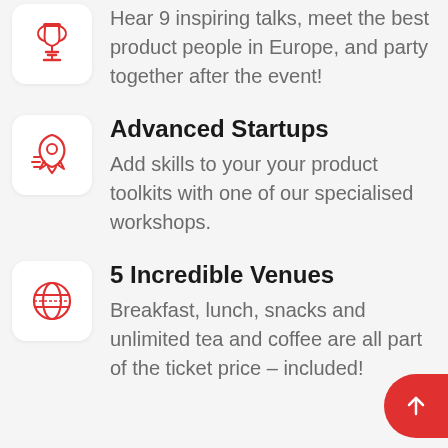Hear 9 inspiring talks, meet the best product people in Europe, and party together after the event!
[Figure (illustration): Red outlined microphone/award icon on white rounded card]
Advanced Startups
Add skills to your your product toolkits with one of our specialised workshops.
[Figure (illustration): Red outlined rocket icon on white rounded card]
5 Incredible Venues
Breakfast, lunch, snacks and unlimited tea and coffee are all part of the ticket price – included!
[Figure (illustration): Red outlined globe/world icon on white rounded card]